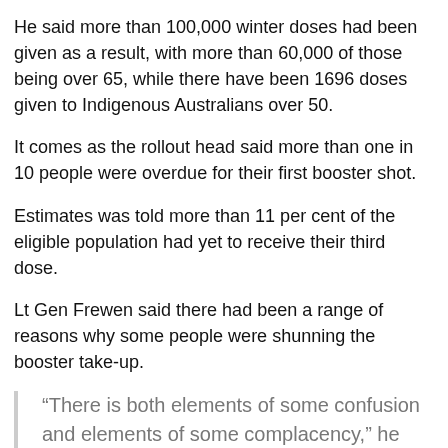He said more than 100,000 winter doses had been given as a result, with more than 60,000 of those being over 65, while there have been 1696 doses given to Indigenous Australians over 50.
It comes as the rollout head said more than one in 10 people were overdue for their first booster shot.
Estimates was told more than 11 per cent of the eligible population had yet to receive their third dose.
Lt Gen Frewen said there had been a range of reasons why some people were shunning the booster take-up.
“There is both elements of some confusion and elements of some complacency,” he said.
“It comes (down) to people no longer as fearful of Omicron as